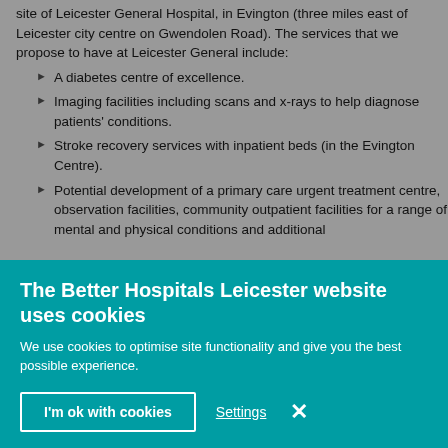site of Leicester General Hospital, in Evington (three miles east of Leicester city centre on Gwendolen Road). The services that we propose to have at Leicester General include:
A diabetes centre of excellence.
Imaging facilities including scans and x-rays to help diagnose patients' conditions.
Stroke recovery services with inpatient beds (in the Evington Centre).
Potential development of a primary care urgent treatment centre, observation facilities, community outpatient facilities for a range of mental and physical conditions and additional
The Better Hospitals Leicester website uses cookies
We use cookies to optimise site functionality and give you the best possible experience.